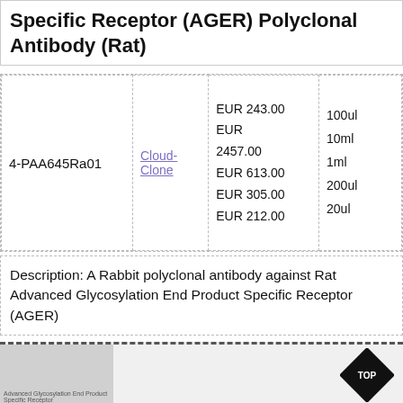Specific Receptor (AGER) Polyclonal Antibody (Rat)
| ID | Supplier | Price | Size |
| --- | --- | --- | --- |
| 4-PAA645Ra01 | Cloud-Clone | EUR 243.00
EUR 2457.00
EUR 613.00
EUR 305.00
EUR 212.00 | 100ul
10ml
1ml
200ul
20ul |
Description: A Rabbit polyclonal antibody against Rat Advanced Glycosylation End Product Specific Receptor (AGER)
[Figure (other): Bottom banner with a grey image thumbnail on the left showing partial text 'Advanced Glycosylation End Product Specific Receptor', and a black diamond-shaped TOP badge on the right.]